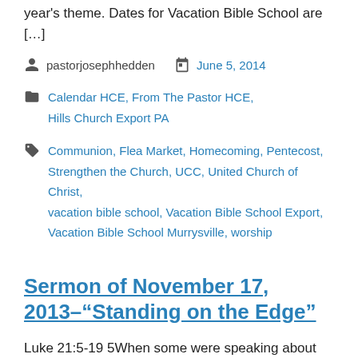year's theme. Dates for Vacation Bible School are […]
pastorjosephhedden   June 5, 2014
Calendar HCE, From The Pastor HCE, Hills Church Export PA
Communion, Flea Market, Homecoming, Pentecost, Strengthen the Church, UCC, United Church of Christ, vacation bible school, Vacation Bible School Export, Vacation Bible School Murrysville, worship
Sermon of November 17, 2013–"Standing on the Edge"
Luke 21:5-19 5When some were speaking about the temple, how it was adorned with beautiful